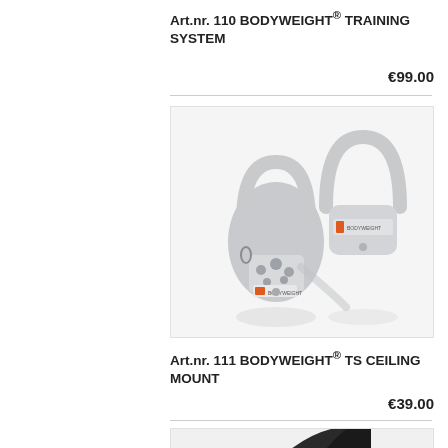Art.nr. 110 BODYWEIGHT® TRAINING SYSTEM
€99.00
[Figure (photo): Two gray BODYWEIGHT® TS Ceiling Mount anchor brackets with screws and hardware, branded with BODYWEIGHT logo and orange accent mark]
Art.nr. 111 BODYWEIGHT® TS CEILING MOUNT
€39.00
[Figure (photo): Partial view of a dark-colored BODYWEIGHT product, cropped at bottom of page]